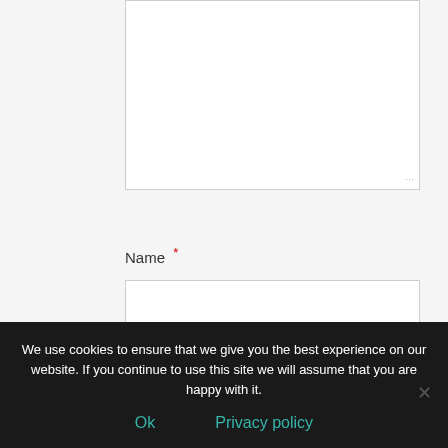[Figure (screenshot): Textarea input field (partially visible at top)]
Name *
[Figure (screenshot): Name text input field (empty)]
Email *
[Figure (screenshot): Email text input field (empty, partially visible)]
We use cookies to ensure that we give you the best experience on our website. If you continue to use this site we will assume that you are happy with it.
Ok
Privacy policy